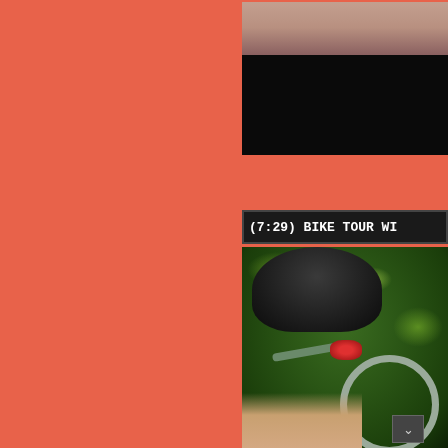[Figure (screenshot): Top video thumbnail showing a face/person, partially visible, with dark/black area below, on orange-red background]
(7:29) BIKE TOUR WI...
[Figure (screenshot): Video thumbnail showing a person on a bicycle outdoors with green foliage background, bicycle wheel and helmet visible]